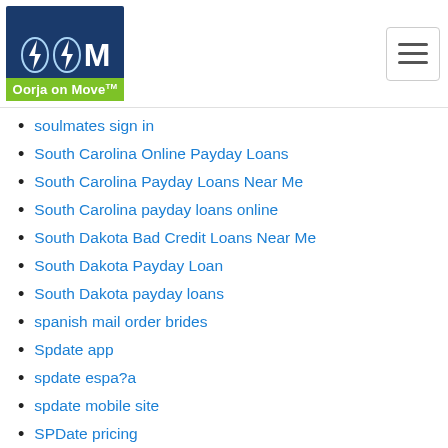Oorja on Move logo and navigation hamburger menu
soulmates sign in
South Carolina Online Payday Loans
South Carolina Payday Loans Near Me
South Carolina payday loans online
South Dakota Bad Credit Loans Near Me
South Dakota Payday Loan
South Dakota payday loans
spanish mail order brides
Spdate app
spdate espa?a
spdate mobile site
SPDate pricing
SPDATE review
spdate sign in
speedy cash payday loans
spiritual singles hookup sites